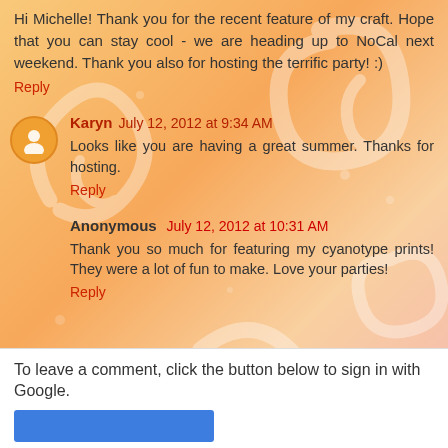Hi Michelle! Thank you for the recent feature of my craft. Hope that you can stay cool - we are heading up to NoCal next weekend. Thank you also for hosting the terrific party! :)
Reply
Karyn July 12, 2012 at 9:34 AM
Looks like you are having a great summer. Thanks for hosting.
Reply
Anonymous July 12, 2012 at 10:31 AM
Thank you so much for featuring my cyanotype prints! They were a lot of fun to make. Love your parties!
Reply
To leave a comment, click the button below to sign in with Google.